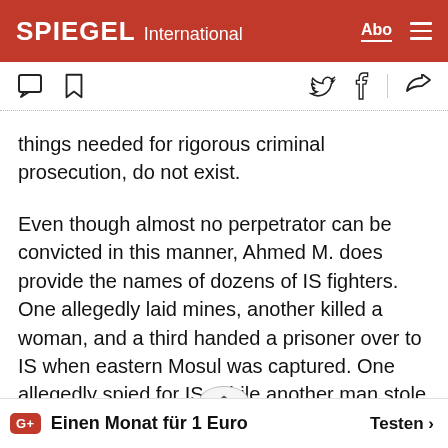SPIEGEL International
things needed for rigorous criminal prosecution, do not exist.
Even though almost no perpetrator can be convicted in this manner, Ahmed M. does provide the names of dozens of IS fighters. One allegedly laid mines, another killed a woman, and a third handed a prisoner over to IS when eastern Mosul was captured. One allegedly spied for IS, while another man stole cars.
G+ Einen Monat für 1 Euro  Testen >